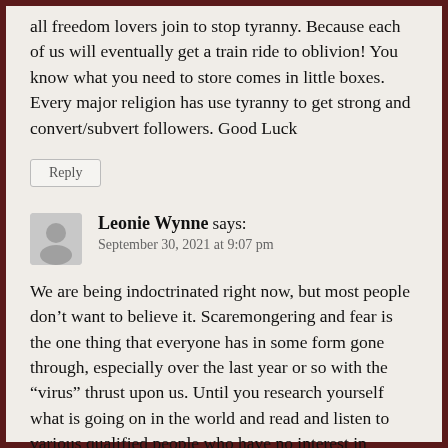all freedom lovers join to stop tyranny. Because each of us will eventually get a train ride to oblivion! You know what you need to store comes in little boxes. Every major religion has use tyranny to get strong and convert/subvert followers. Good Luck
Reply
Leonie Wynne says:
September 30, 2021 at 9:07 pm
We are being indoctrinated right now, but most people don’t want to believe it. Scaremongering and fear is the one thing that everyone has in some form gone through, especially over the last year or so with the “virus” thrust upon us. Until you research yourself what is going on in the world and read and listen to various qualified people who have no interest in making money off this virus you will never get rid of your fear. Why do you think the msm (main stream